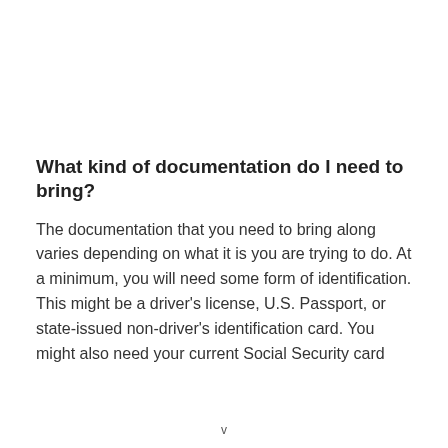What kind of documentation do I need to bring?
The documentation that you need to bring along varies depending on what it is you are trying to do. At a minimum, you will need some form of identification. This might be a driver's license, U.S. Passport, or state-issued non-driver's identification card. You might also need your current Social Security card
v